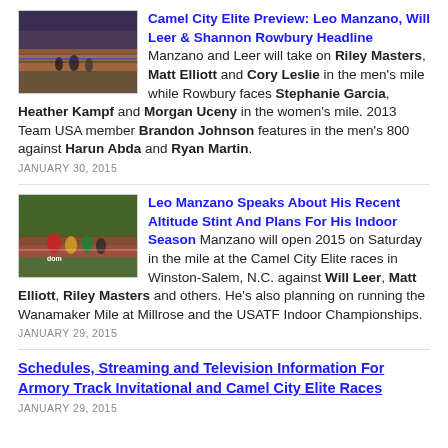[Figure (photo): Indoor track race photo showing runners on a red track]
Camel City Elite Preview: Leo Manzano, Will Leer & Shannon Rowbury Headline Manzano and Leer will take on Riley Masters, Matt Elliott and Cory Leslie in the men's mile while Rowbury faces Stephanie Garcia, Heather Kampf and Morgan Uceny in the women's mile. 2013 Team USA member Brandon Johnson features in the men's 800 against Harun Abda and Ryan Martin.
JANUARY 30, 2015
[Figure (photo): Outdoor track race photo showing runners competing]
Leo Manzano Speaks About His Recent Altitude Stint And Plans For His Indoor Season Manzano will open 2015 on Saturday in the mile at the Camel City Elite races in Winston-Salem, N.C. against Will Leer, Matt Elliott, Riley Masters and others. He's also planning on running the Wanamaker Mile at Millrose and the USATF Indoor Championships.
JANUARY 29, 2015
Schedules, Streaming and Television Information For Armory Track Invitational and Camel City Elite Races
JANUARY 29, 2015